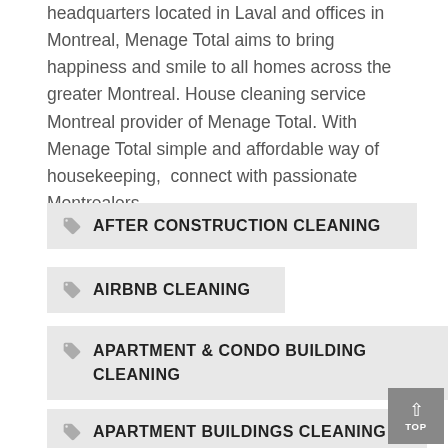headquarters located in Laval and offices in Montreal, Menage Total aims to bring happiness and smile to all homes across the greater Montreal. House cleaning service Montreal provider of Menage Total. With Menage Total simple and affordable way of housekeeping, connect with passionate Montrealers.
AFTER CONSTRUCTION CLEANING
AIRBNB CLEANING
APARTMENT & CONDO BUILDING CLEANING
APARTMENT BUILDINGS CLEANING